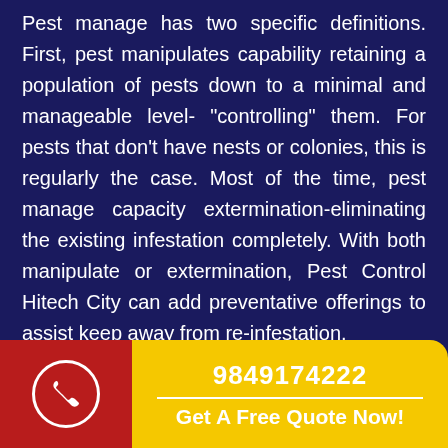Pest manage has two specific definitions. First, pest manipulates capability retaining a population of pests down to a minimal and manageable level- "controlling" them. For pests that don't have nests or colonies, this is regularly the case. Most of the time, pest manage capacity extermination-eliminating the existing infestation completely. With both manipulate or extermination, Pest Control Hitech City can add preventative offerings to assist keep away from re-infestation.
9849174222
Get A Free Quote Now!